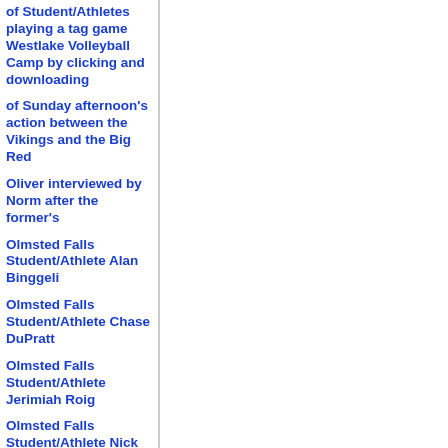of Student/Athletes playing a tag game Westlake Volleyball Camp by clicking and downloading
of Sunday afternoon's action between the Vikings and the Big Red
Oliver interviewed by Norm after the former's
Olmsted Falls Student/Athlete Alan Binggeli
Olmsted Falls Student/Athlete Chase DuPratt
Olmsted Falls Student/Athlete Jerimiah Roig
Olmsted Falls Student/Athlete Nick Asadorian,
opening kick off in action tonight in Ignatius-US
Orf explain the Costa Rica trip and why the